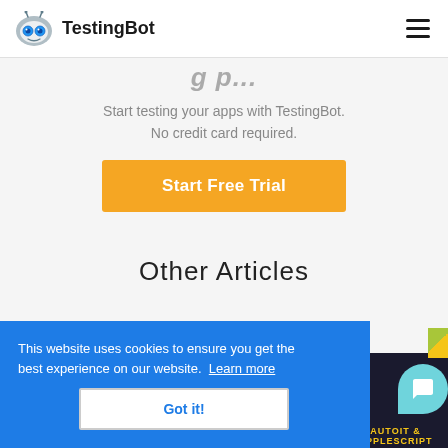TestingBot
Start testing your apps with TestingBot. No credit card required.
Start Free Trial
Other Articles
This website uses cookies to ensure you get the best experience on our website. Learn more
Got it!
[Figure (other): Partially visible dark card with AUTOIT & APPLESCRIPT text at bottom and a chat widget icon]